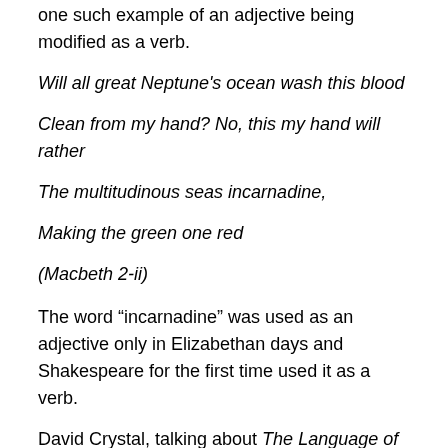one such example of an adjective being modified as a verb.
Will all great Neptune's ocean wash this blood
Clean from my hand? No, this my hand will rather
The multitudinous seas incarnadine,
Making the green one red
(Macbeth 2-ii)
The word “inarnadine” was used as an adjective only in Elizabethan days and Shakespeare for the first time used it as a verb.
David Crystal, talking about The Language of Shakespeare, refers (quoting Shakespeare) to one of his